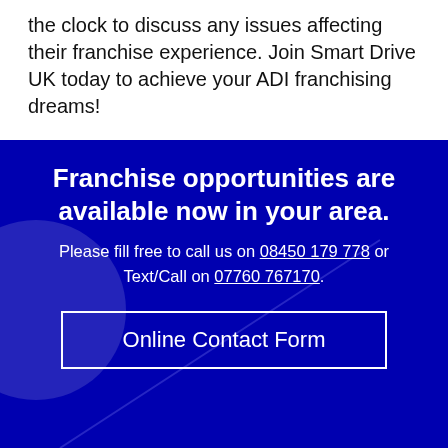the clock to discuss any issues affecting their franchise experience. Join Smart Drive UK today to achieve your ADI franchising dreams!
Franchise opportunities are available now in your area.
Please fill free to call us on 08450 179 778 or Text/Call on 07760 767170.
Online Contact Form